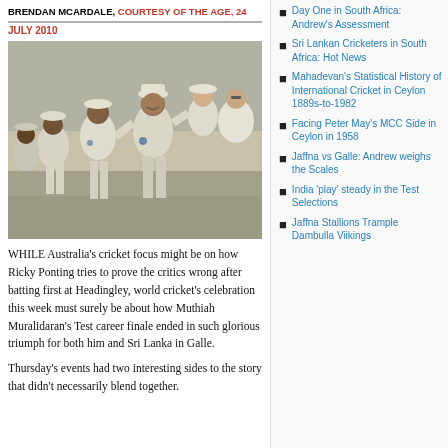BRENDAN MCARDALE, COURTESY OF THE AGE, 24 JULY 2010
[Figure (photo): Sri Lankan cricketers in white uniforms celebrating together on the field, group huddle with players smiling and embracing]
WHILE Australia's cricket focus might be on how Ricky Ponting tries to prove the critics wrong after batting first at Headingley, world cricket's celebration this week must surely be about how Muthiah Muralidaran's Test career finale ended in such glorious triumph for both him and Sri Lanka in Galle.
Thursday's events had two interesting sides to the story that didn't necessarily blend together.
Day One in South Africa: Andrew's Assessment
Sri Lankan Cricketers in South Africa: Hot News
Mahadevan's Statistical History of International Cricket in Ceylon 1889s-to-1982
Facing Peter May's MCC Side in Ceylon in 1958
Jaffna vs Galle: Andrew weighs the Scales
India 'play' steady in the Test Selections
Jaffna Stallions Trample Dambulla Viikings